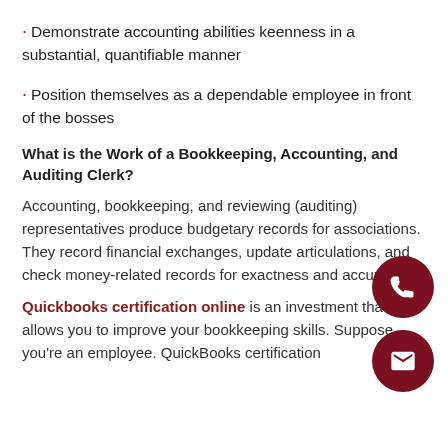Demonstrate accounting abilities keenness in a substantial, quantifiable manner
Position themselves as a dependable employee in front of the bosses
What is the Work of a Bookkeeping, Accounting, and Auditing Clerk?
Accounting, bookkeeping, and reviewing (auditing) representatives produce budgetary records for associations. They record financial exchanges, update articulations, and check money-related records for exactness and accuracy.
Quickbooks certification online is an investment that allows you to improve your bookkeeping skills. Suppose you're an employee. QuickBooks certification